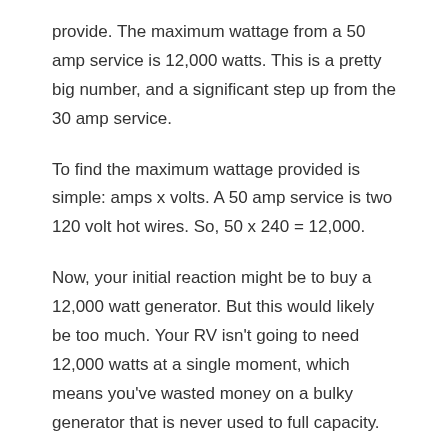provide. The maximum wattage from a 50 amp service is 12,000 watts. This is a pretty big number, and a significant step up from the 30 amp service.
To find the maximum wattage provided is simple: amps x volts. A 50 amp service is two 120 volt hot wires. So, 50 x 240 = 12,000.
Now, your initial reaction might be to buy a 12,000 watt generator. But this would likely be too much. Your RV isn't going to need 12,000 watts at a single moment, which means you've wasted money on a bulky generator that is never used to full capacity.
What Are Your Wattage Needs?